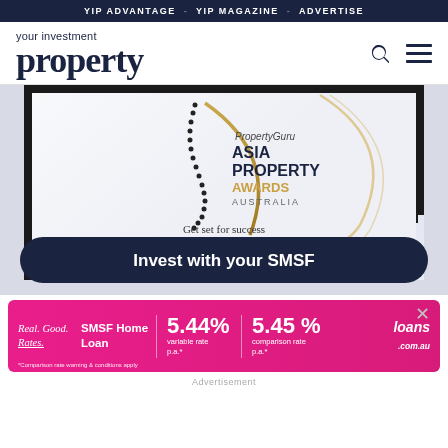YIP ADVANTAGE · YIP MAGAZINE · ADVERTISE
your investment property
[Figure (photo): PropertyGuru Asia Property Awards Australia framed certificate/plaque. Text reads: Get set for success and earn the Gold Standard in real estate as judged by an independent panel of experts in Australia. Entries close 30 September 2022.]
Invest with your SMSF
[Figure (infographic): Advertisement banner: Real Good Rates. SMSF Home Loan. 5.44% variable rate p.a.* | 5.45% comparison rate p.a.* loans.com.au. *Comparison rate warning & conditions apply.]
Advertisement